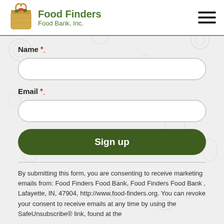Food Finders Food Bank, Inc.
Name *
Email *
Sign up
By submitting this form, you are consenting to receive marketing emails from: Food Finders Food Bank, Food Finders Food Bank , Lafayette, IN, 47904, http://www.food-finders.org. You can revoke your consent to receive emails at any time by using the SafeUnsubscribe® link, found at the